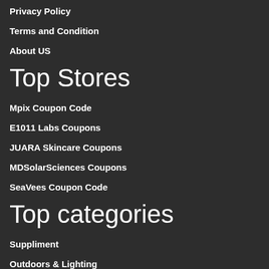Privacy Policy
Terms and Condition
About US
Top Stores
Mpix Coupon Code
E1011 Labs Coupons
JUARA Skincare Coupons
MDSolarSciences Coupons
SeaVees Coupon Code
Top categories
Suppliment
Outdoors & Lighting
Bags & Travel Gear
Yoga Equipment And Gear